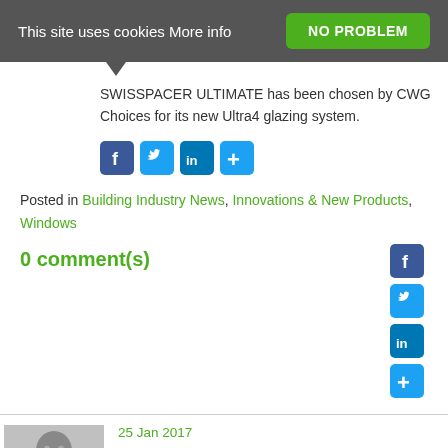This site uses cookies More info | NO PROBLEM
SWISSPACER ULTIMATE has been chosen by CWG Choices for its new Ultra4 glazing system.
Posted in Building Industry News, Innovations & New Products, Windows
0 comment(s)
25 Jan 2017
Energy efficiency is still the driver for